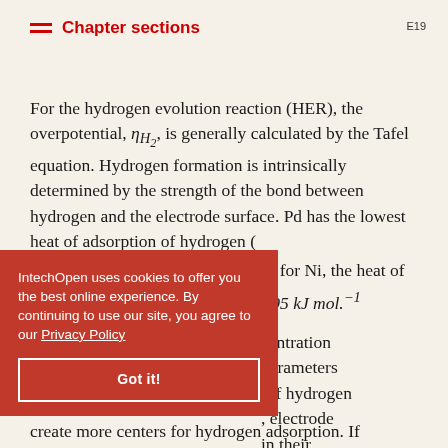Chapter sections   E19
For the hydrogen evolution reaction (HER), the overpotential, η_{H₂}, is generally calculated by the Tafel equation. Hydrogen formation is intrinsically determined by the strength of the bond between hydrogen and the electrode surface. Pd has the lowest heat of adsorption of hydrogen ( ΔH_{ads,Pd,298}(H₂) = 83. kJ mol.⁻¹); for Ni, the heat of adsorption is ΔH_{ads,Ni,298}(H₂) = 105 kJ mol.⁻¹
[...] Electrolyte concentration parameters . If hydrogen , electrode in their nsfer and create more centers for hydrogen adsorption. If
IntechOpen uses cookies to offer you the best online experience. By continuing to use our site, you agree to our Privacy Policy
Got it!